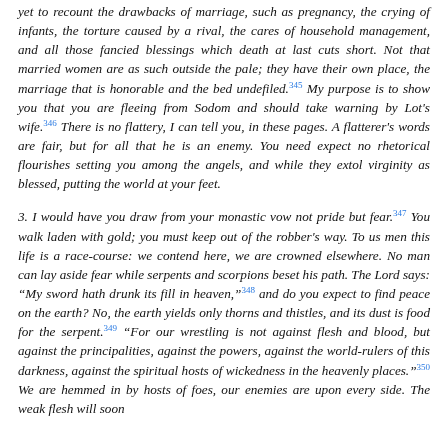yet to recount the drawbacks of marriage, such as pregnancy, the crying of infants, the torture caused by a rival, the cares of household management, and all those fancied blessings which death at last cuts short. Not that married women are as such outside the pale; they have their own place, the marriage that is honorable and the bed undefiled.[345] My purpose is to show you that you are fleeing from Sodom and should take warning by Lot's wife.[346] There is no flattery, I can tell you, in these pages. A flatterer's words are fair, but for all that he is an enemy. You need expect no rhetorical flourishes setting you among the angels, and while they extol virginity as blessed, putting the world at your feet.
3. I would have you draw from your monastic vow not pride but fear.[347] You walk laden with gold; you must keep out of the robber's way. To us men this life is a race-course: we contend here, we are crowned elsewhere. No man can lay aside fear while serpents and scorpions beset his path. The Lord says: “My sword hath drunk its fill in heaven,”[348] and do you expect to find peace on the earth? No, the earth yields only thorns and thistles, and its dust is food for the serpent.[349] “For our wrestling is not against flesh and blood, but against the principalities, against the powers, against the world-rulers of this darkness, against the spiritual hosts of wickedness in the heavenly places.”[350] We are hemmed in by hosts of foes, our enemies are upon every side. The weak flesh will soon